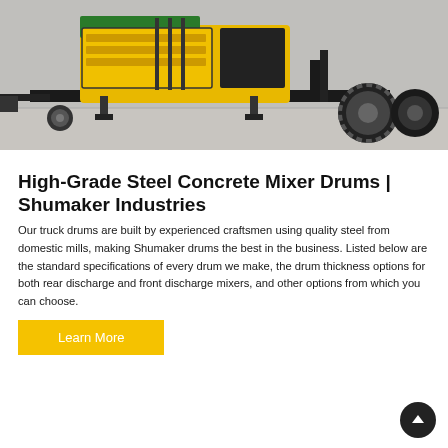[Figure (photo): Yellow and black concrete mixer truck/equipment on a trailer with large wheel on right side, photographed indoors on a concrete floor.]
High-Grade Steel Concrete Mixer Drums | Shumaker Industries
Our truck drums are built by experienced craftsmen using quality steel from domestic mills, making Shumaker drums the best in the business. Listed below are the standard specifications of every drum we make, the drum thickness options for both rear discharge and front discharge mixers, and other options from which you can choose.